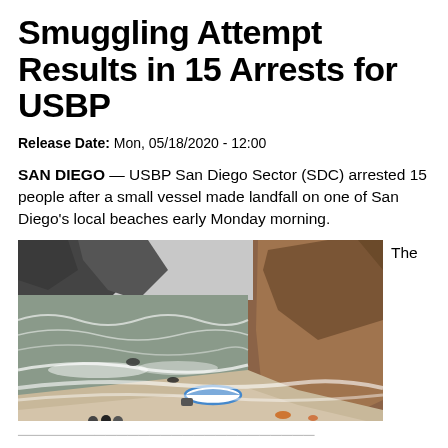Smuggling Attempt Results in 15 Arrests for USBP
Release Date: Mon, 05/18/2020 - 12:00
SAN DIEGO — USBP San Diego Sector (SDC) arrested 15 people after a small vessel made landfall on one of San Diego's local beaches early Monday morning.
[Figure (photo): Aerial or elevated view of a rocky beach with rough surf, an overturned white vessel in the water near shore, a jet ski with people on it, emergency responders in the water, and steep cliffs in the background.]
The